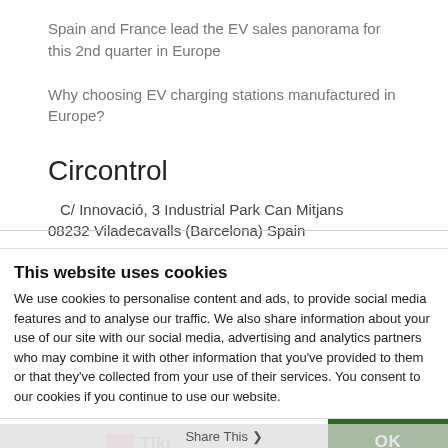Spain and France lead the EV sales panorama for this 2nd quarter in Europe
Why choosing EV charging stations manufactured in Europe?
Circontrol
C/ Innovació, 3 Industrial Park Can Mitjans
08232 Viladecavalls (Barcelona) Spain
This website uses cookies
We use cookies to personalise content and ads, to provide social media features and to analyse our traffic. We also share information about your use of our site with our social media, advertising and analytics partners who may combine it with other information that you've provided to them or that they've collected from your use of their services. You consent to our cookies if you continue to use our website.
OK
Necessary  Preferences  Statistics  Marketing  Show details